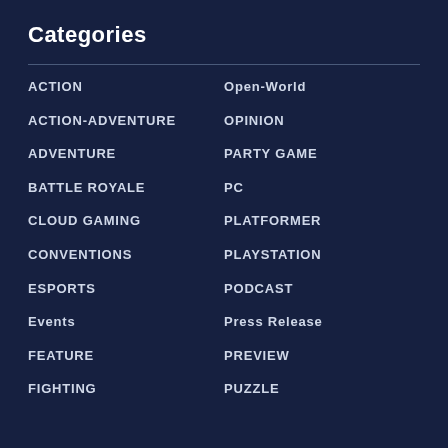Categories
ACTION
ACTION-ADVENTURE
ADVENTURE
BATTLE ROYALE
CLOUD GAMING
CONVENTIONS
ESPORTS
Events
FEATURE
FIGHTING
Open-World
OPINION
PARTY GAME
PC
PLATFORMER
PLAYSTATION
PODCAST
Press Release
PREVIEW
PUZZLE